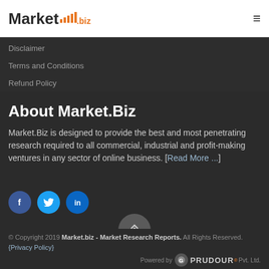Market.biz
Disclaimer
Terms and Conditions
Refund Policy
About Market.Biz
Market.Biz is designed to provide the best and most penetrating research required to all commercial, industrial and profit-making ventures in any sector of online business. [Read More ...]
[Figure (other): Social media icons: Facebook, Twitter, LinkedIn]
[Figure (other): Scroll to top button with upward chevron arrows]
© Copyright 2019 Market.biz - Market Research Reports. All Rights Reserved. {Privacy Policy} Powered by Prudour Pvt. Ltd.